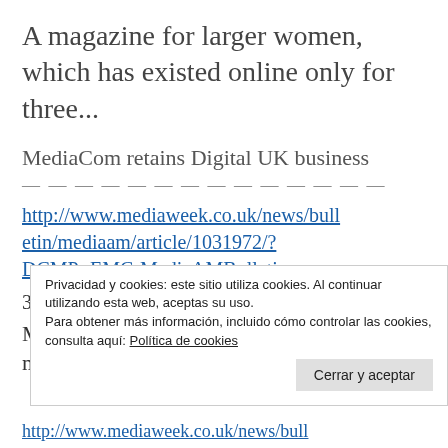A magazine for larger women, which has existed online only for three...
MediaCom retains Digital UK business
— — — — — — — — — — — — — —
http://www.mediaweek.co.uk/news/bulletin/mediaam/article/1031972/?DCMP=EMC-MediaAMBulletin
30 September 2010
MediaCom has retained the Digital UK media planning and buying account
Privacidad y cookies: este sitio utiliza cookies. Al continuar utilizando esta web, aceptas su uso.
Para obtener más información, incluido cómo controlar las cookies, consulta aquí: Política de cookies
Cerrar y aceptar
http://www.mediaweek.co.uk/news/bull